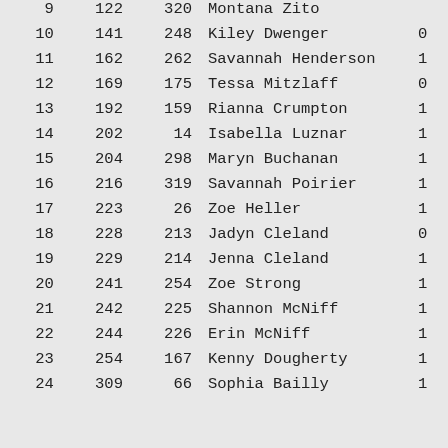| Rank | Num1 | Num2 | Name | Extra |
| --- | --- | --- | --- | --- |
| 9 | 122 | 320 | Montana Zito |  |
| 10 | 141 | 248 | Kiley Dwenger | 0 |
| 11 | 162 | 262 | Savannah Henderson | 1 |
| 12 | 169 | 175 | Tessa Mitzlaff | 0 |
| 13 | 192 | 159 | Rianna Crumpton | 1 |
| 14 | 202 | 14 | Isabella Luznar | 1 |
| 15 | 204 | 298 | Maryn Buchanan | 1 |
| 16 | 216 | 319 | Savannah Poirier | 1 |
| 17 | 223 | 26 | Zoe Heller | 1 |
| 18 | 228 | 213 | Jadyn Cleland | 0 |
| 19 | 229 | 214 | Jenna Cleland | 1 |
| 20 | 241 | 254 | Zoe Strong | 1 |
| 21 | 242 | 225 | Shannon McNiff | 1 |
| 22 | 244 | 226 | Erin McNiff | 1 |
| 23 | 254 | 167 | Kenny Dougherty | 1 |
| 24 | 309 | 66 | Sophia Bailly | 1 |